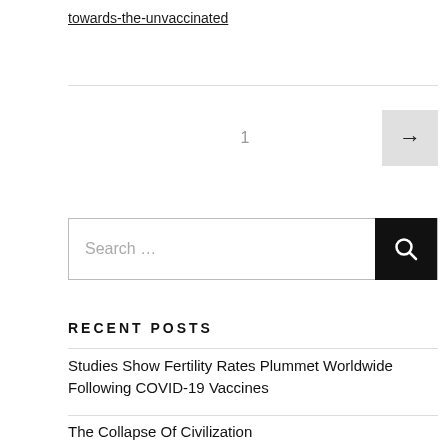towards-the-unvaccinated
1
RECENT POSTS
Studies Show Fertility Rates Plummet Worldwide Following COVID-19 Vaccines
The Collapse Of Civilization